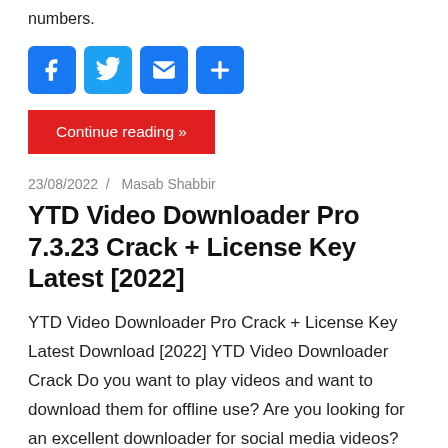numbers.
[Figure (other): Row of four blue social media sharing icons: Facebook, Twitter, Email, and Share/Plus button]
Continue reading »
23/08/2022 / Masab Shabbir
YTD Video Downloader Pro 7.3.23 Crack + License Key Latest [2022]
YTD Video Downloader Pro Crack + License Key Latest Download [2022] YTD Video Downloader Crack Do you want to play videos and want to download them for offline use? Are you looking for an excellent downloader for social media videos?
[Figure (other): Row of partially visible blue social media sharing icons at bottom of page]